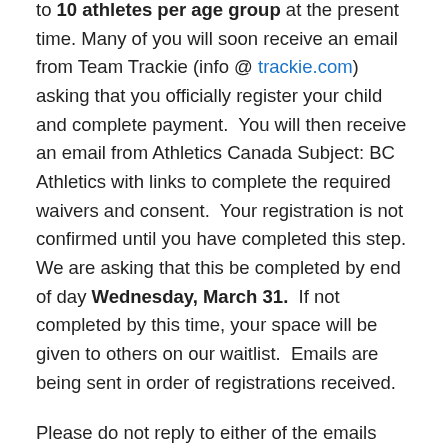to 10 athletes per age group at the present time. Many of you will soon receive an email from Team Trackie (info @ trackie.com) asking that you officially register your child and complete payment. You will then receive an email from Athletics Canada Subject: BC Athletics with links to complete the required waivers and consent. Your registration is not confirmed until you have completed this step. We are asking that this be completed by end of day Wednesday, March 31. If not completed by this time, your space will be given to others on our waitlist. Emails are being sent in order of registrations received.
Please do not reply to either of the emails above, we will not receive them. If there are questions or you/your child have made the decision to no longer participate in this season, please inform us via email to info@royalcitytrack.ca ASAP so that we may remove